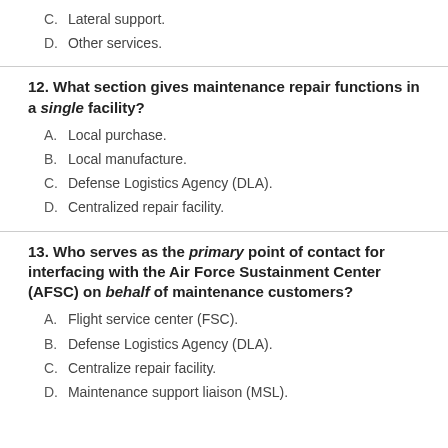C. Lateral support.
D. Other services.
12. What section gives maintenance repair functions in a single facility?
A. Local purchase.
B. Local manufacture.
C. Defense Logistics Agency (DLA).
D. Centralized repair facility.
13. Who serves as the primary point of contact for interfacing with the Air Force Sustainment Center (AFSC) on behalf of maintenance customers?
A. Flight service center (FSC).
B. Defense Logistics Agency (DLA).
C. Centralize repair facility.
D. Maintenance support liaison (MSL).